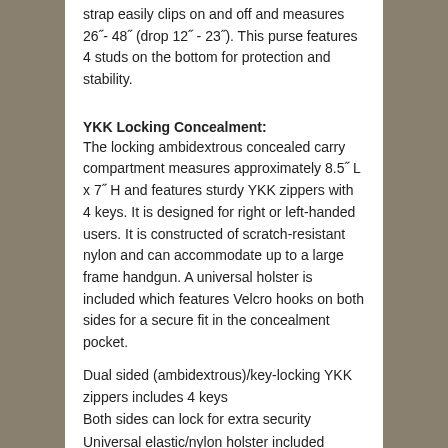strap easily clips on and off and measures 26"- 48" (drop 12" - 23"). This purse features 4 studs on the bottom for protection and stability.
YKK Locking Concealment:
The locking ambidextrous concealed carry compartment measures approximately 8.5" L x 7" H and features sturdy YKK zippers with 4 keys. It is designed for right or left-handed users. It is constructed of scratch-resistant nylon and can accommodate up to a large frame handgun. A universal holster is included which features Velcro hooks on both sides for a secure fit in the concealment pocket.
Dual sided (ambidextrous)/key-locking YKK zippers includes 4 keys
Both sides can lock for extra security
Universal elastic/nylon holster included
Can accommodate a large frame handgun
Concealment pocket measures 8.5" L x 7" H